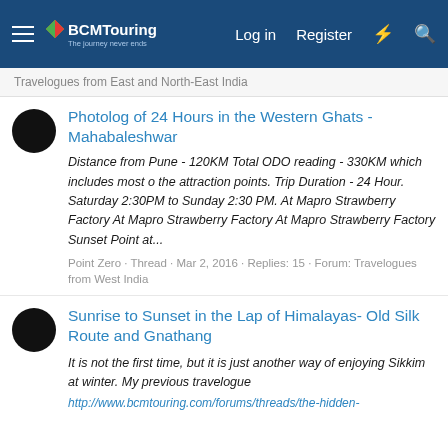BCMTouring — Log in · Register
Travelogues from East and North-East India
Photolog of 24 Hours in the Western Ghats - Mahabaleshwar
Distance from Pune - 120KM Total ODO reading - 330KM which includes most o the attraction points. Trip Duration - 24 Hour. Saturday 2:30PM to Sunday 2:30 PM. At Mapro Strawberry Factory At Mapro Strawberry Factory At Mapro Strawberry Factory Sunset Point at...
Point Zero · Thread · Mar 2, 2016 · Replies: 15 · Forum: Travelogues from West India
Sunrise to Sunset in the Lap of Himalayas- Old Silk Route and Gnathang
It is not the first time, but it is just another way of enjoying Sikkim at winter. My previous travelogue http://www.bcmtouring.com/forums/threads/the-hidden-...